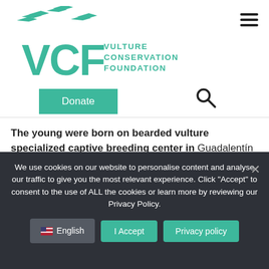[Figure (logo): VCF Vulture Conservation Foundation logo with flying vulture silhouettes in teal/green color]
The young were born on bearded vulture specialized captive breeding center in Guadalentín (also managed by the Junta de Andalusia), the Liberec Zoo (Czech republic) and the Richard Faust captive-breeding center (Austria).
We use cookies on our website to personalise content and analyse our traffic to give you the most relevant experience. Click "Accept" to consent to the use of ALL the cookies or learn more by reviewing our Privacy Policy.